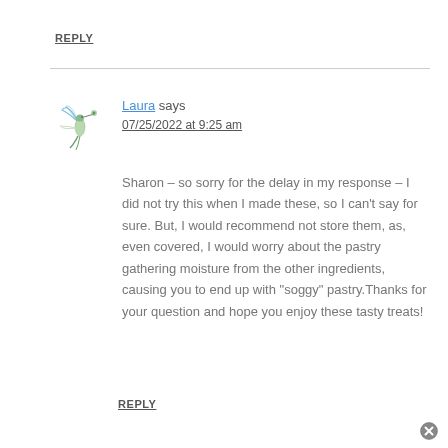REPLY
Laura says
07/25/2022 at 9:25 am
Sharon – so sorry for the delay in my response – I did not try this when I made these, so I can't say for sure. But, I would recommend not store them, as, even covered, I would worry about the pastry gathering moisture from the other ingredients, causing you to end up with "soggy" pastry.Thanks for your question and hope you enjoy these tasty treats!
REPLY